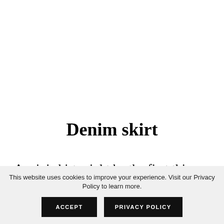Denim skirt
A mini skirt might be the first thing that crosses your mind when we say denim skirts,
This website uses cookies to improve your experience. Visit our Privacy Policy to learn more.
ACCEPT
PRIVACY POLICY